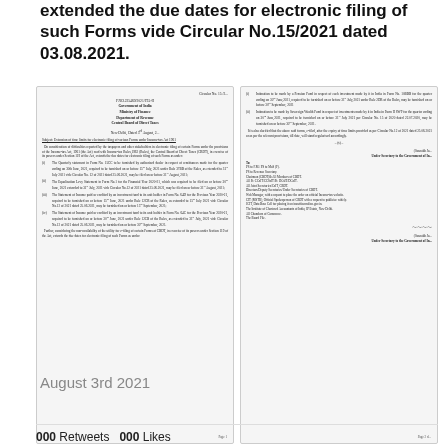extended the due dates for electronic filing of such Forms vide Circular No.15/2021 dated 03.08.2021.
[Figure (photo): Two scanned pages of Government of India, Ministry of Finance, Central Board of Direct Taxes Circular No. 15/2021 dated 3rd August 2021, regarding extension of time limits for electronic filing of various Forms under Income-tax Act 1961.]
August 3rd 2021
Retweets   Likes